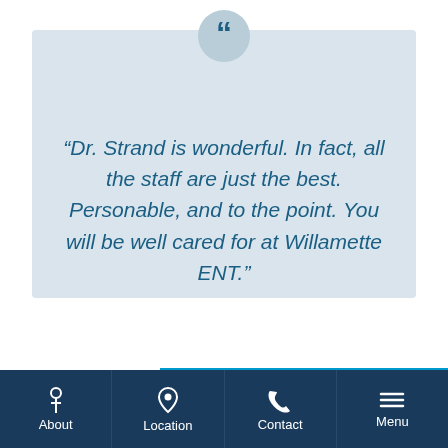“Dr. Strand is wonderful. In fact, all the staff are just the best. Personable, and to the point. You will be well cared for at Willamette ENT.”
REQUEST AN APPOINTMENT
About | Location | Contact | Menu